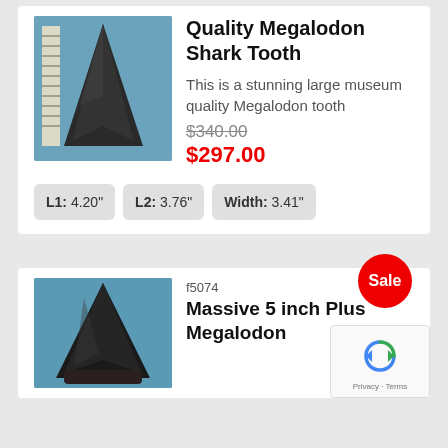[Figure (photo): Photo of a large dark grey Megalodon shark tooth fossil against a blue background with a ruler for scale]
Quality Megalodon Shark Tooth
This is a stunning large museum quality Megalodon tooth
$340.00 (strikethrough original price)
$297.00 (sale price in red)
L1: 4.20"  L2: 3.76"  Width: 3.41"
f5074
Massive 5 inch Plus Megalodon
[Figure (photo): Photo of a large dark black Megalodon shark tooth fossil against a blue background]
[Figure (other): reCAPTCHA verification widget with Privacy and Terms links]